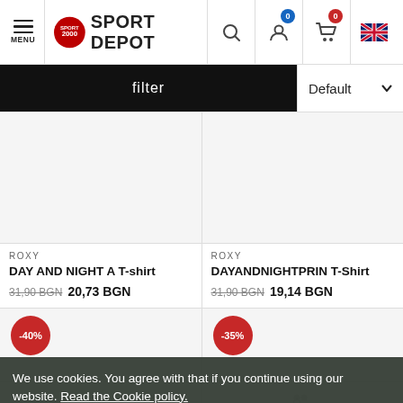SPORT DEPOT — navigation bar with menu, search, account, cart and language selector
filter
Default
ROXY
DAY AND NIGHT A T-shirt
31,90 BGN 20,73 BGN
ROXY
DAYANDNIGHTPRIN T-Shirt
31,90 BGN 19,14 BGN
[Figure (screenshot): Product image placeholder for DAY AND NIGHT A T-shirt, white/light grey area]
[Figure (screenshot): Product image placeholder for DAYANDNIGHTPRIN T-Shirt, white/light grey area]
-40%
-35%
We use cookies. You agree with that if you continue using our website. Read the Cookie policy.
Settings    I agree.    Close